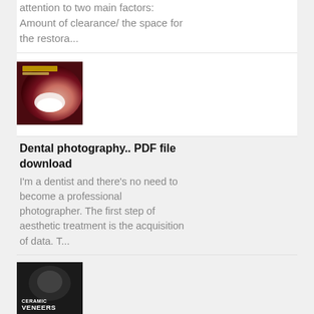attention to two main factors: Amount of clearance/ the space for the restora...
[Figure (photo): Thumbnail image of a dental photography book or document cover]
Dental photography.. PDF file download
I'm a dentist and there's no need to become a professional photographer. The first step of aesthetic treatment is the acquisition of data. T...
[Figure (photo): Thumbnail image of a Ceramic Veneers Preparation PDF cover with dark background and orange text]
Ceramic veneers preparations. PDF Download link
Download here